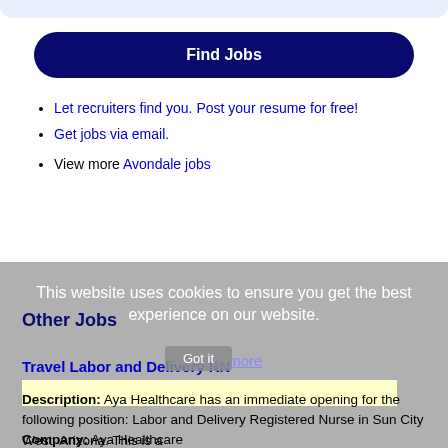Find Jobs
Let recruiters find you. Post your resume for free!
Get jobs via email.
View more Avondale jobs
This website uses cookies to ensure you get the best experience on our website.
Learn more
Other Jobs
Travel Labor and Delivery RN
Description: Aya Healthcare has an immediate opening for the following position: Labor and Delivery Registered Nurse in Sun City West, Arizona. This is a
Company: Aya Healthcare